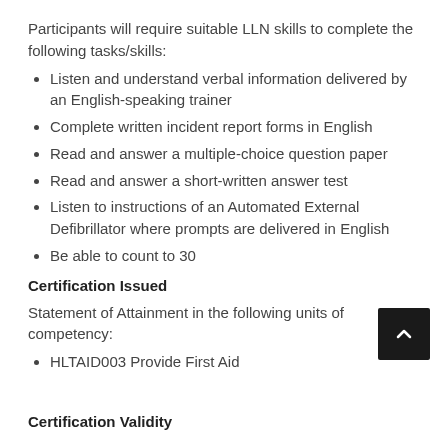Participants will require suitable LLN skills to complete the following tasks/skills:
Listen and understand verbal information delivered by an English-speaking trainer
Complete written incident report forms in English
Read and answer a multiple-choice question paper
Read and answer a short-written answer test
Listen to instructions of an Automated External Defibrillator where prompts are delivered in English
Be able to count to 30
Certification Issued
Statement of Attainment in the following units of competency:
HLTAID003 Provide First Aid
Certification Validity